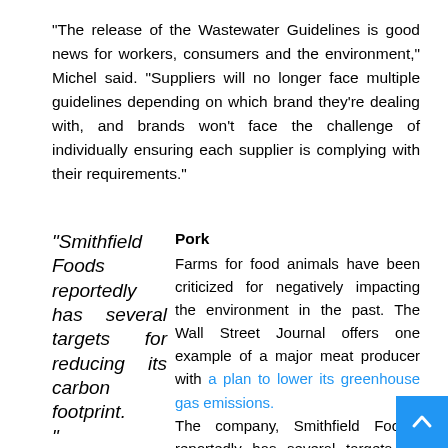"The release of the Wastewater Guidelines is good news for workers, consumers and the environment," Michel said. "Suppliers will no longer face multiple guidelines depending on which brand they're dealing with, and brands won't face the challenge of individually ensuring each supplier is complying with their requirements."
"Smithfield Foods reportedly has several targets for reducing its carbon footprint."
Pork
Farms for food animals have been criticized for negatively impacting the environment in the past. The Wall Street Journal offers one example of a major meat producer with a plan to lower its greenhouse gas emissions. The company, Smithfield Foods, reportedly has several targets for reducing its carbon footprint, including cutting carbon dioxide and